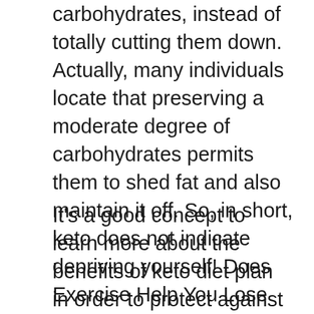carbohydrates, instead of totally cutting them down. Actually, many individuals locate that preserving a moderate degree of carbohydrates permits them to shed fat and also maintain it off. So, in short, keto does not indicate depriving yourself! Does Exercise Help You Lose Weight On Keto Delauer
It's a good concept to learn more about the benefits of keto diet plan in order to protect against type 2 diabetes mellitus and excessive weight. High blood sugar is the key reason keto diet works so efficiently. High blood sugar leads to obesity because our body has trouble keeping fat for future use. Our body has a tendency to convert fat into sugar, which causes a boost in insulin